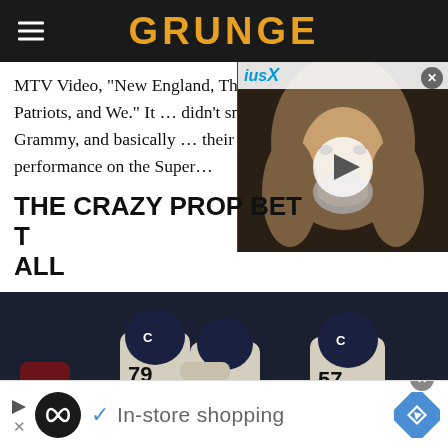GRUNGE
MTV Video, "New England, The Patriots, and We." It … didn't sniff a Grammy, and basically … their performance on the Super…
[Figure (photo): Video thumbnail showing a man with long gray hair and beard, with SiriusXM logo overlay and play button, from Grunge website]
THE CRAZY PROP BET T… ALL
[Figure (photo): Chicago Bears football players celebrating on field, players wearing jerseys numbered 79 and 57]
[Figure (other): Advertisement banner showing in-store shopping ad with Looper/infinity logo and Google Maps navigation icon]